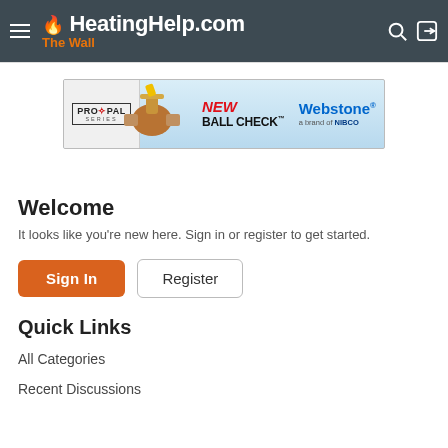HeatingHelp.com The Wall
[Figure (photo): Advertisement banner for Webstone PRO-PAL Series New Ball Check valve product, a brand of NIBCO]
Welcome
It looks like you're new here. Sign in or register to get started.
Sign In   Register
Quick Links
All Categories
Recent Discussions